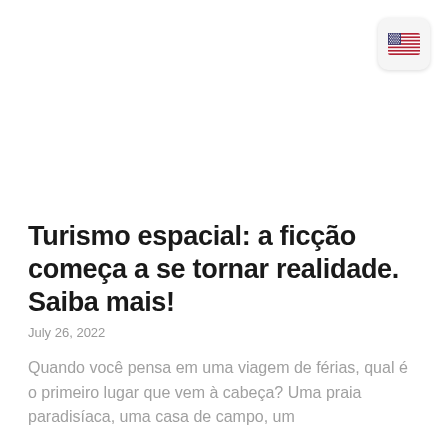[Figure (illustration): US flag icon button in top-right corner]
Turismo espacial: a ficção começa a se tornar realidade. Saiba mais!
July 26, 2022
Quando você pensa em uma viagem de férias, qual é o primeiro lugar que vem à cabeça? Uma praia paradisíaca, uma casa de campo, um